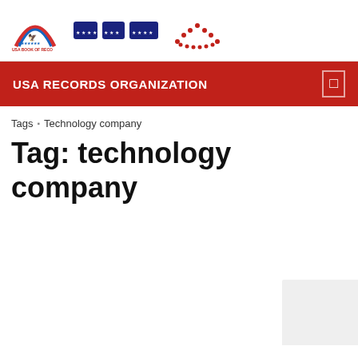USA BOOK OF RECORDS — USA RECORDS ORGANIZATION header logos
USA RECORDS ORGANIZATION
Tags › Technology company
Tag: technology company